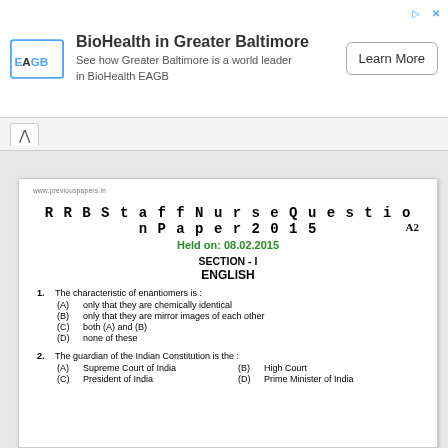[Figure (other): Ad banner: EAGB logo, BioHealth in Greater Baltimore text, Learn More button]
RRB Staff Nurse Question Paper 2015
Held on: 08.02.2015
SECTION - I
ENGLISH
1. The characteristic of enantiomers is :
(A) only that they are chemically identical
(B) only that they are mirror images of each other
(C) both (A) and (B)
(D) none of these
2. The guardian of the Indian Constitution is the :
(A) Supreme Court of India   (B) High Court
(C) President of India        (D) Prime Minister of India